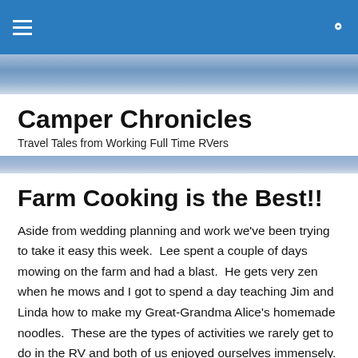≡  🔍
Camper Chronicles
Travel Tales from Working Full Time RVers
Farm Cooking is the Best!!
Aside from wedding planning and work we've been trying to take it easy this week.  Lee spent a couple of days mowing on the farm and had a blast.  He gets very zen when he mows and I got to spend a day teaching Jim and Linda how to make my Great-Grandma Alice's homemade noodles.  These are the types of activities we rarely get to do in the RV and both of us enjoyed ourselves immensely.  My Great Grandmother was a huge part of my